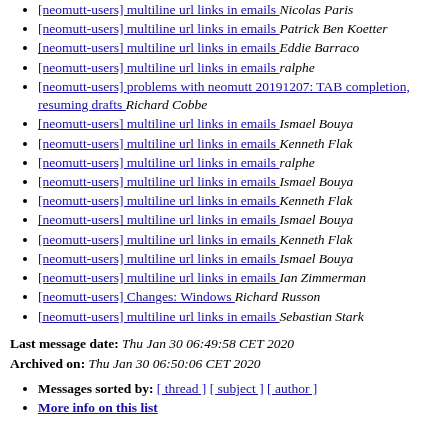[neomutt-users] multiline url links in emails  Nicolas Paris
[neomutt-users] multiline url links in emails  Patrick Ben Koetter
[neomutt-users] multiline url links in emails  Eddie Barraco
[neomutt-users] multiline url links in emails  ralphe
[neomutt-users] problems with neomutt 20191207: TAB completion, resuming drafts  Richard Cobbe
[neomutt-users] multiline url links in emails  Ismael Bouya
[neomutt-users] multiline url links in emails  Kenneth Flak
[neomutt-users] multiline url links in emails  ralphe
[neomutt-users] multiline url links in emails  Ismael Bouya
[neomutt-users] multiline url links in emails  Kenneth Flak
[neomutt-users] multiline url links in emails  Ismael Bouya
[neomutt-users] multiline url links in emails  Kenneth Flak
[neomutt-users] multiline url links in emails  Ismael Bouya
[neomutt-users] multiline url links in emails  Ian Zimmerman
[neomutt-users] Changes: Windows  Richard Russon
[neomutt-users] multiline url links in emails  Sebastian Stark
Last message date: Thu Jan 30 06:49:58 CET 2020
Archived on: Thu Jan 30 06:50:06 CET 2020
Messages sorted by: [ thread ] [ subject ] [ author ]
More info on this list